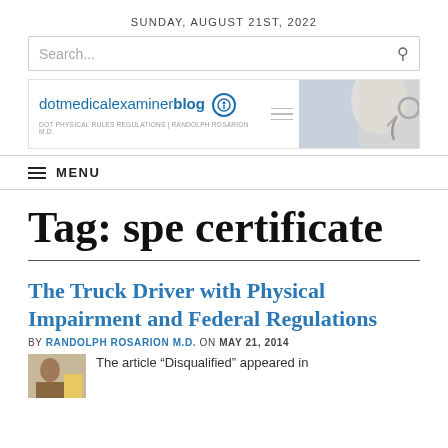SUNDAY, AUGUST 21ST, 2022
[Figure (screenshot): Search bar with placeholder text 'Search...' and a search icon on the right]
[Figure (logo): dotmedicalexaminerblog logo with stethoscope icon and doctor image on the right. Subtitle: DOT PHYSICAL RULES REGULATIONS | RANDOLPH ROSARION M.D.]
MENU
Tag: spe certificate
The Truck Driver with Physical Impairment and Federal Regulations
BY RANDOLPH ROSARION M.D. ON MAY 21, 2014
The article “Disqualified” appeared in